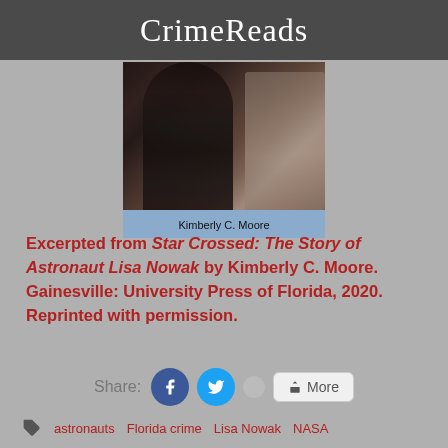CrimeReads
[Figure (photo): Photo of Kimberly C. Moore with caption below on blue background]
Kimberly C. Moore
Excerpted from Star Crossed: The Story of Astronaut Lisa Nowak by Kimberly C. Moore. Gainesville: University Press of Florida, 2020. Reprinted with permission.
Share: [Facebook] [Twitter] [dot] [More]
astronauts  Florida crime  Lisa Nowak  NASA